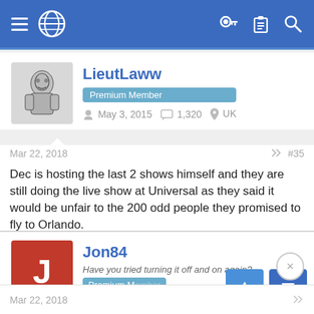[Figure (screenshot): Blue navigation bar with hamburger menu, globe icon on left, and key, clipboard, search icons on right]
LieutLaww
Premium Member
May 3, 2015  1,320  UK
Mar 22, 2018  #35
Dec is hosting the last 2 shows himself and they are still doing the live show at Universal as they said it would be unfair to the 200 odd people they promised to fly to Orlando.
Scott W.
Jon84
Have you tried turning it off and on again?
Premium Member
Oct 17, 2013  1,095
Mar 22, 2018